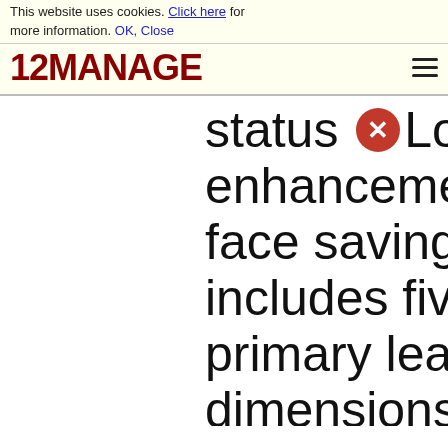This website uses cookies. Click here for more information. OK, Close
[Figure (logo): 12MANAGE logo in dark red bold font with hamburger menu icon]
status
2 Log in enhancement a
face saving. It
includes five
primary leaders
dimensions: (a)